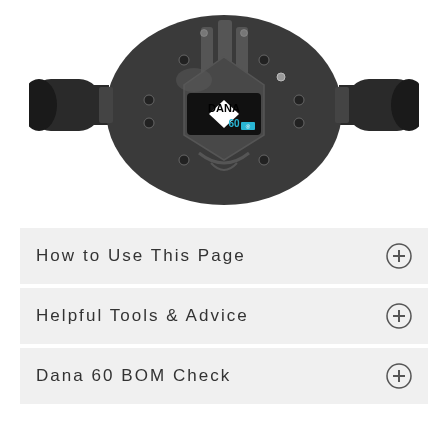[Figure (photo): Dana 60 differential housing, viewed from below/front, showing cast iron housing with axle tubes extending left and right, bolted cover plates, and a Dana 60 logo badge in the center]
How to Use This Page
Helpful Tools & Advice
Dana 60 BOM Check